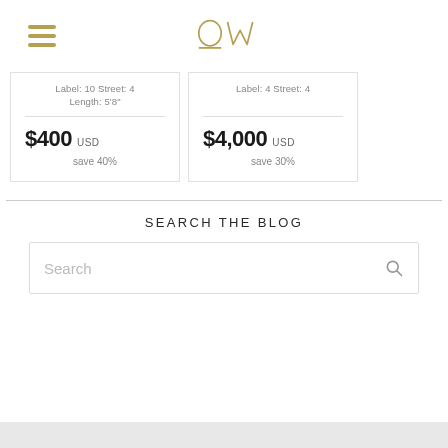OW logo with hamburger menu
Label: 10 Street: 4
Length: 5'8"
$400 USD
save 40%
Label: 4 Street: 4
$4,000 USD
save 30%
SEARCH THE BLOG
Search